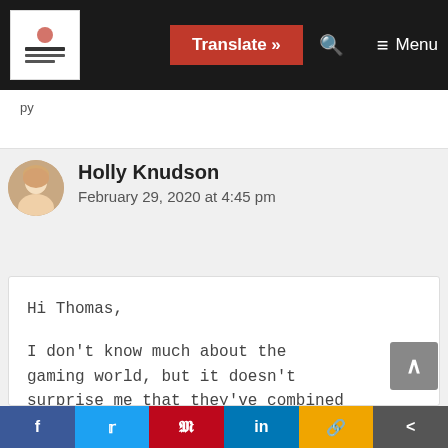Translate » [search icon] Menu
py
Holly Knudson
February 29, 2020 at 4:45 pm
Hi Thomas,

I don't know much about the gaming world, but it doesn't surprise me that they've combined it with podcasting and that's it's
f  [twitter]  p  in  %  <